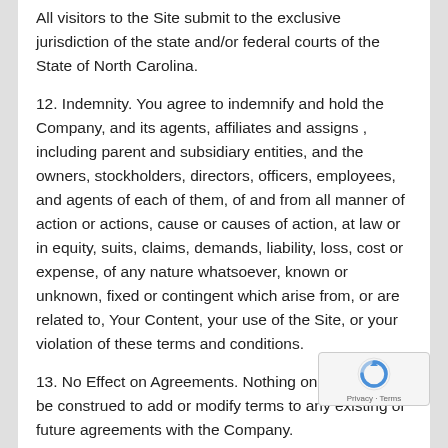All visitors to the Site submit to the exclusive jurisdiction of the state and/or federal courts of the State of North Carolina.
12. Indemnity. You agree to indemnify and hold the Company, and its agents, affiliates and assigns , including parent and subsidiary entities, and the owners, stockholders, directors, officers, employees, and agents of each of them, of and from all manner of action or actions, cause or causes of action, at law or in equity, suits, claims, demands, liability, loss, cost or expense, of any nature whatsoever, known or unknown, fixed or contingent which arise from, or are related to, Your Content, your use of the Site, or your violation of these terms and conditions.
13. No Effect on Agreements. Nothing on the Site shall be construed to add or modify terms to any existing or future agreements with the Company.
14. Privacy/Electronic Communication. When you visit